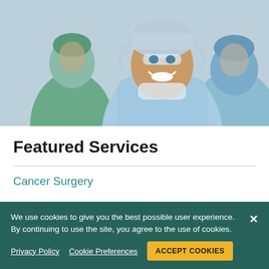[Figure (photo): Smiling female surgeon in blue surgical gown, cap, and safety glasses in an operating room, with other surgical team members visible in the background]
Featured Services
Cancer Surgery
We use cookies to give you the best possible user experience. By continuing to use the site, you agree to the use of cookies.
Privacy Policy   Cookie Preferences   ACCEPT COOKIES